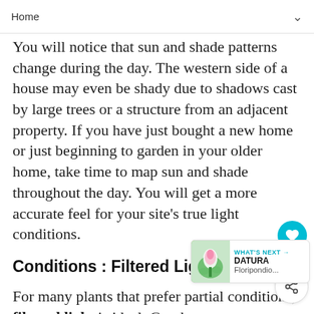Home
You will notice that sun and shade patterns change during the day. The western side of a house may even be shady due to shadows cast by large trees or a structure from an adjacent property. If you have just bought a new home or just beginning to garden in your older home, take time to map sun and shade throughout the day. You will get a more accurate feel for your site's true light conditions.
Conditions : Filtered Light
For many plants that prefer partial conditions, filtered light is ideal. Good